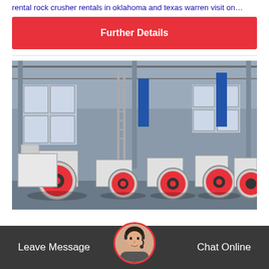rental rock crusher rentals in oklahoma and texas warren visit on…
Further Details
[Figure (photo): Indoor factory floor showing multiple large jaw crusher and impact crusher machines with red and black flywheel discs, white bodies, arranged in a manufacturing warehouse with tall steel structure roof and blue banners in the background.]
Leave Message
Chat Online